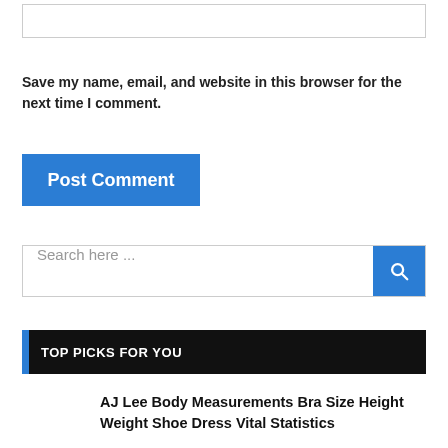[Figure (screenshot): Input text box (empty form field)]
Save my name, email, and website in this browser for the next time I comment.
[Figure (screenshot): Blue 'Post Comment' button]
[Figure (screenshot): Search bar with 'Search here ...' placeholder and blue search button with magnifying glass icon]
TOP PICKS FOR YOU
AJ Lee Body Measurements Bra Size Height Weight Shoe Dress Vital Statistics